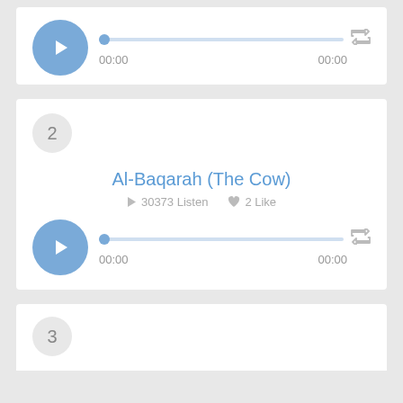[Figure (screenshot): Audio player card (top, partial) with play button, progress bar showing 00:00 / 00:00 and repeat icon]
[Figure (screenshot): Audio player card for 'Al-Baqarah (The Cow)' with number badge 2, title, 30373 Listen / 2 Like stats, play button, progress bar 00:00 / 00:00 and repeat icon]
[Figure (screenshot): Partial audio player card with number badge 3 visible at bottom]